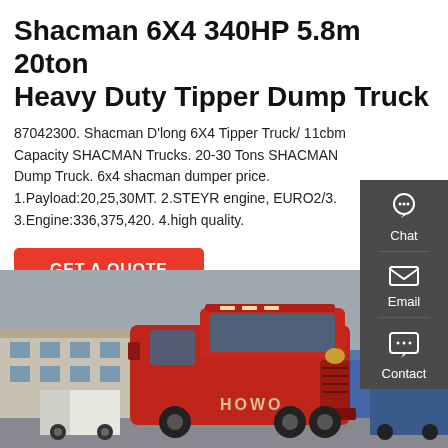Shacman 6X4 340HP 5.8m 20ton Heavy Duty Tipper Dump Truck
87042300. Shacman D'long 6X4 Tipper Truck/ 11cbm Capacity SHACMAN Trucks. 20-30 Tons SHACMAN Dump Truck. 6x4 shacman dumper price. 1.Payload:20,25,30MT. 2.STEYR engine, EURO2/3. 3.Engine:336,375,420. 4.high quality.
GET A QUOTE
[Figure (photo): Red HOWO heavy duty truck cab photographed in a truck yard, with other trucks and a building visible in the background.]